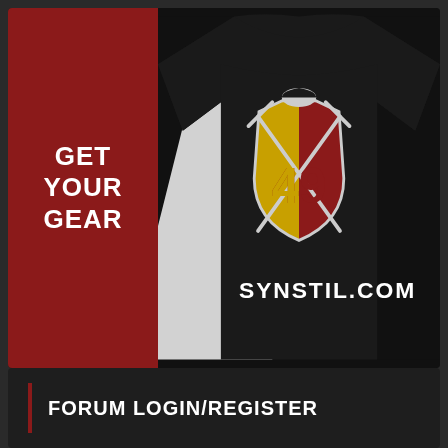[Figure (photo): Advertisement banner showing a black t-shirt with a shield logo featuring the number 49 in gold and red colors with crossed pickaxes and a San Francisco 49ers helmet at top. Text on shirt reads SYNSTIL.COM. Left side of banner has dark red background with white bold text GET YOUR GEAR.]
GET YOUR GEAR
SYNSTIL.COM
FORUM LOGIN/REGISTER